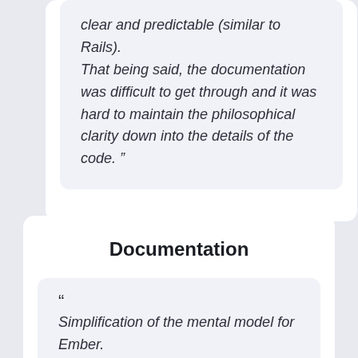clear and predictable (similar to Rails).

That being said, the documentation was difficult to get through and it was hard to maintain the philosophical clarity down into the details of the code. ”
Documentation
“ Simplification of the mental model for Ember.

After spending the last few months